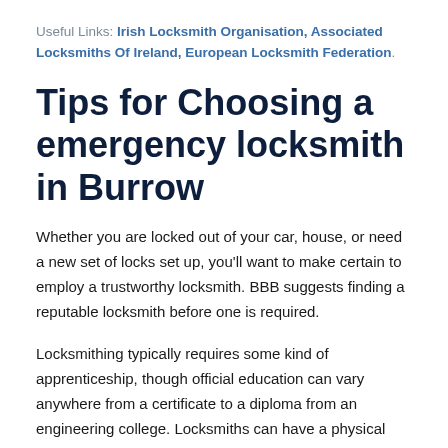Useful Links: Irish Locksmith Organisation, Associated Locksmiths Of Ireland, European Locksmith Federation.
Tips for Choosing a emergency locksmith in Burrow
Whether you are locked out of your car, house, or need a new set of locks set up, you'll want to make certain to employ a trustworthy locksmith. BBB suggests finding a reputable locksmith before one is required.
Locksmithing typically requires some kind of apprenticeship, though official education can vary anywhere from a certificate to a diploma from an engineering college. Locksmiths can have a physical store